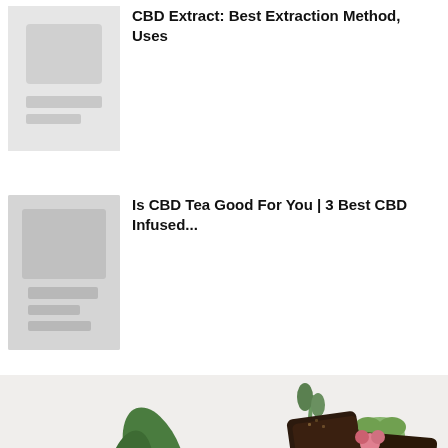[Figure (photo): Thumbnail placeholder image for article about CBD Extract]
CBD Extract: Best Extraction Method, Uses
[Figure (photo): Thumbnail placeholder image for CBD Tea article]
Is CBD Tea Good For You | 3 Best CBD Infused...
[Figure (photo): Photo of assorted dark chocolate pieces decorated with leaves, herbs, and purple ribbon on a white background]
Best CBD Chocolate Reviews: Benefits, Effects & Dosage